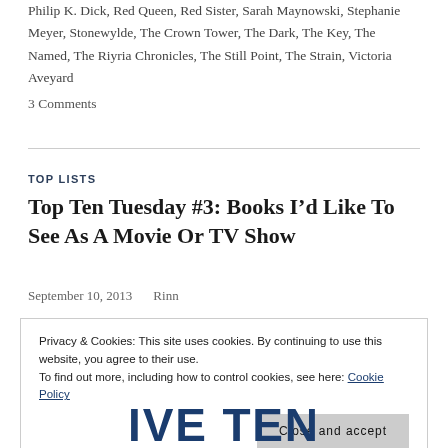Philip K. Dick, Red Queen, Red Sister, Sarah Maynowski, Stephanie Meyer, Stonewylde, The Crown Tower, The Dark, The Key, The Named, The Riyria Chronicles, The Still Point, The Strain, Victoria Aveyard
3 Comments
TOP LISTS
Top Ten Tuesday #3: Books I’d Like To See As A Movie Or TV Show
September 10, 2013   Rinn
Privacy & Cookies: This site uses cookies. By continuing to use this website, you agree to their use.
To find out more, including how to control cookies, see here: Cookie Policy
Close and accept
[Figure (other): Partial blue bold text at bottom of page, appears to be decorative heading letters 'IVE TEN' or similar]